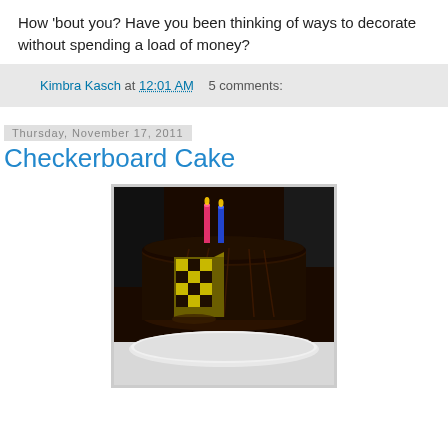How 'bout you? Have you been thinking of ways to decorate without spending a load of money?
Kimbra Kasch at 12:01 AM   5 comments:
Thursday, November 17, 2011
Checkerboard Cake
[Figure (photo): A round chocolate frosted cake on a white cake stand, with a slice cut out revealing a checkerboard interior, decorated with a pink and blue birthday candle]